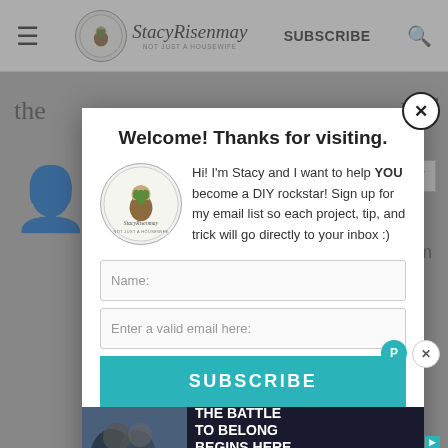StacyRisenmay – NOT JUST A HOUSEWIFE | SUBSCRIBE
[Figure (screenshot): Website popup modal with subscription form on StacyRisenmay blog. Modal contains welcome title, bio text with logo, name field, email field, and subscribe button. Behind modal is blurred page content. Below modal is a Marines advertisement banner.]
Welcome! Thanks for visiting.
Hi! I'm Stacy and I want to help YOU become a DIY rockstar! Sign up for my email list so each project, tip, and trick will go directly to your inbox :)
Name:
Enter a valid email here:
SUBSCRIBE